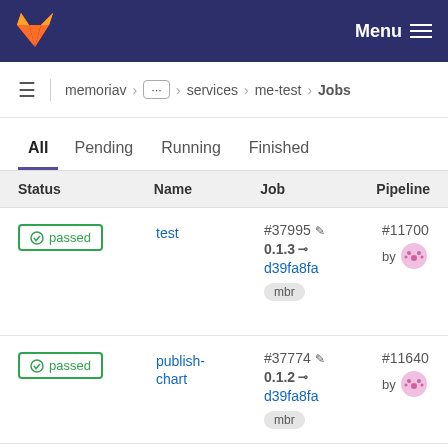GitLab — Menu
memoriav > ... > services > me-test > Jobs
All  Pending  Running  Finished
| Status | Name | Job | Pipeline |
| --- | --- | --- | --- |
| passed | test | #37995  0.1.3  d39fa8fa  mbr | #11700  by [avatar] |
| passed | publish-chart | #37774  0.1.2  d39fa8fa  mbr | #11640  by [avatar] |
| passed | build- | #37773 | #11640 |